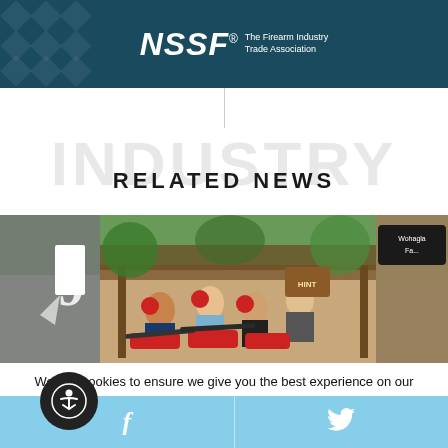NSSF – The Firearm Industry Trade Association
RELATED NEWS
[Figure (photo): People at an outdoor shooting range wearing red ear protection and handling firearms]
We use cookies to ensure we give you the best experience on our website. By clicking "Accept" or using our website, you consent to the use of cookies unless you have disabled them.
Social sharing bar with Facebook and Twitter icons